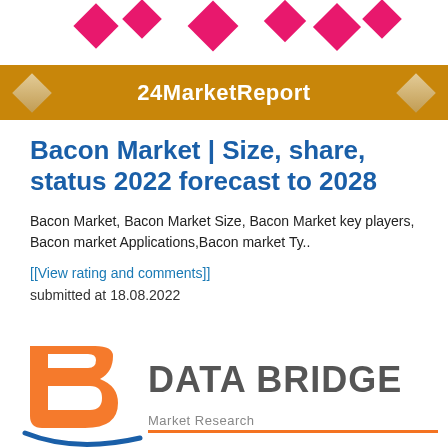[Figure (logo): 24MarketReport logo banner with orange background bar, white text '24MarketReport', decorative diamond shapes in pink/magenta at top and gold/beige on orange bar]
Bacon Market | Size, share, status 2022 forecast to 2028
Bacon Market, Bacon Market Size, Bacon Market key players, Bacon market Applications,Bacon market Ty..
[[View rating and comments]]
submitted at 18.08.2022
[Figure (logo): Data Bridge Market Research logo — orange 'b' letter mark with blue curved swoosh, gray text 'DATA BRIDGE' in large sans-serif, partial lower text visible]